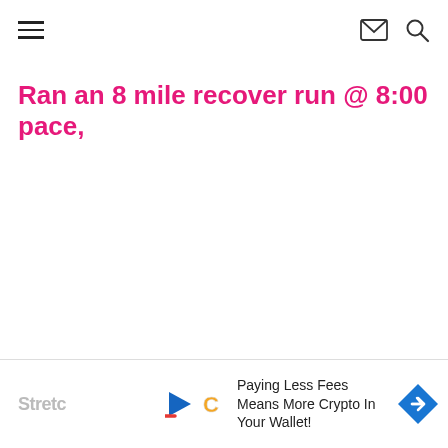[hamburger menu icon] [envelope icon] [search icon]
Ran an 8 mile recover run @ 8:00 pace,
[Figure (other): Advertisement banner at bottom: logos (play button, C letter), text 'Paying Less Fees Means More Crypto In Your Wallet!', blue diamond arrow icon. Partially visible 'Stretc...' text on left.]